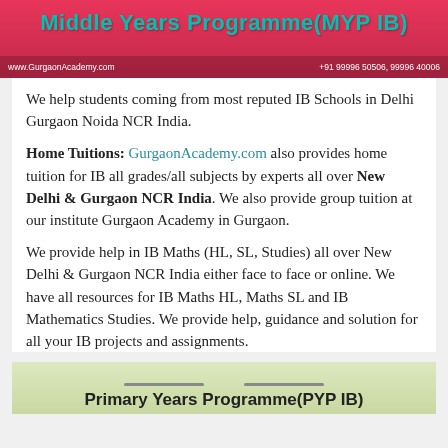[Figure (illustration): Red/pink banner with teal bold text 'Middle Years Programme(MYP IB)' and footer bar with website and phone number]
We help students coming from most reputed IB Schools in Delhi Gurgaon Noida NCR India.
Home Tuitions: GurgaonAcademy.com also provides home tuition for IB all grades/all subjects by experts all over New Delhi & Gurgaon NCR India. We also provide group tuition at our institute Gurgaon Academy in Gurgaon.
We provide help in IB Maths (HL, SL, Studies) all over New Delhi & Gurgaon NCR India either face to face or online. We have all resources for IB Maths HL, Maths SL and IB Mathematics Studies. We provide help, guidance and solution for all your IB projects and assignments.
[Figure (illustration): Light green/yellow banner with two horizontal decorative lines and bold text 'Primary Years Programme(PYP IB)' partially visible at bottom]